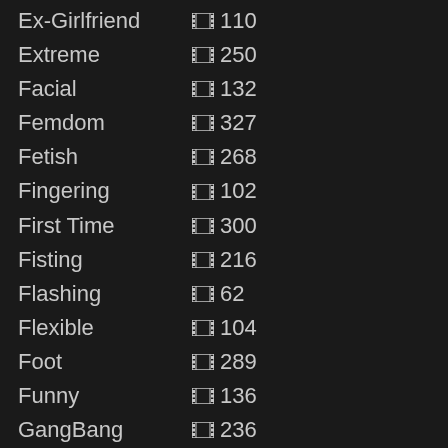Ex-Girlfriend 110
Extreme 250
Facial 132
Femdom 327
Fetish 268
Fingering 102
First Time 300
Fisting 216
Flashing 62
Flexible 104
Foot 289
Funny 136
GangBang 236
Gaping 138
Gay Bear 233
Gay Twink 1042
Glamour 74